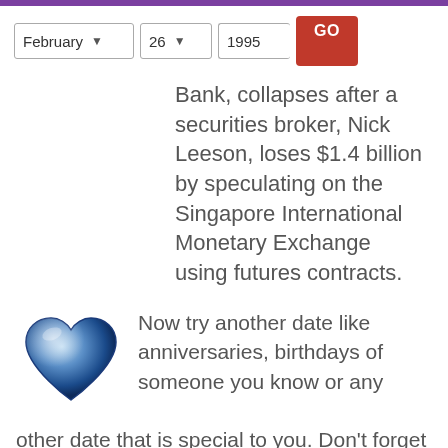February 26 1995 GO
Bank, collapses after a securities broker, Nick Leeson, loses $1.4 billion by speculating on the Singapore International Monetary Exchange using futures contracts.
[Figure (illustration): Blue marble-textured heart shape icon]
Now try another date like anniversaries, birthdays of someone you know or any other date that is special to you. Don't forget to share the info to your friends, loved ones or social media followers.